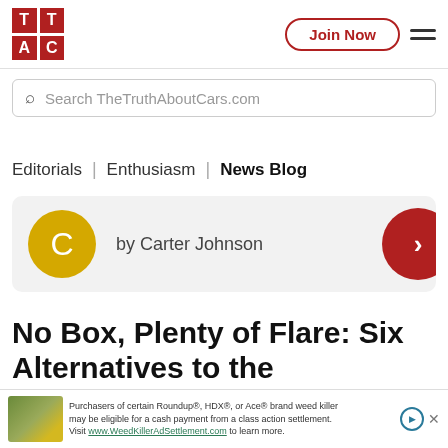[Figure (logo): TTAC logo - two rows of two red squares each containing letters T, T (top row) and A, C (bottom row) in white]
Join Now
Search TheTruthAboutCars.com
Editorials | Enthusiasm | News Blog
by Carter Johnson
No Box, Plenty of Flare: Six Alternatives to the Increasingly Expe...
Purchasers of certain Roundup®, HDX®, or Ace® brand weed killer may be eligible for a cash payment from a class action settlement. Visit www.WeedKillerAdSettlement.com to learn more.